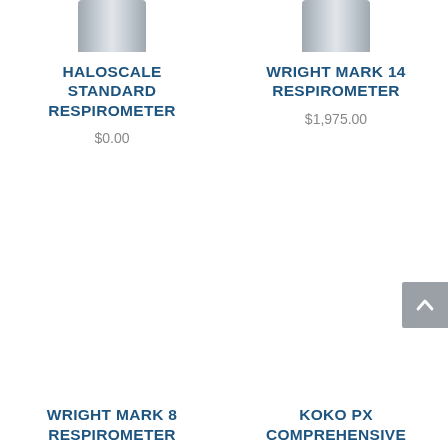[Figure (photo): Top portion of a cylindrical metal respirometer device, gray metallic finish, left product]
HALOSCALE STANDARD RESPIROMETER
$0.00
[Figure (photo): Top portion of a cylindrical metal respirometer device, gray metallic finish, right product]
WRIGHT MARK 14 RESPIROMETER
$1,975.00
[Figure (other): Scroll-to-top arrow button, gray background]
WRIGHT MARK 8 RESPIROMETER
KOKO PX COMPREHENSIVE